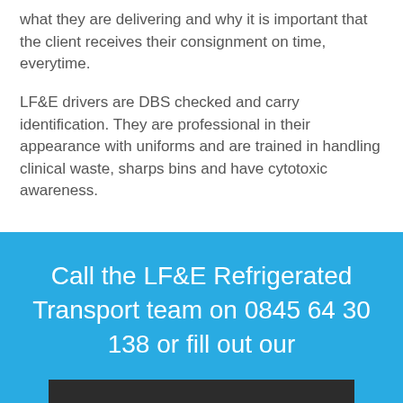what they are delivering and why it is important that the client receives their consignment on time, everytime.
LF&E drivers are DBS checked and carry identification. They are professional in their appearance with uniforms and are trained in handling clinical waste, sharps bins and have cytotoxic awareness.
Call the LF&E Refrigerated Transport team on 0845 64 30 138 or fill out our